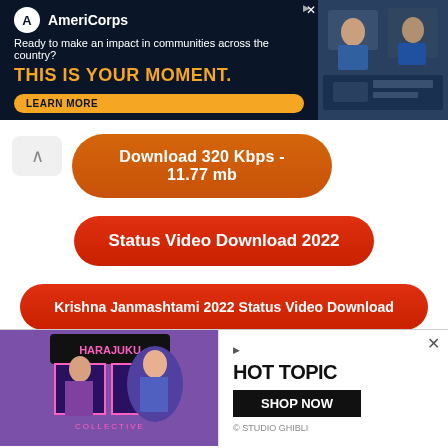[Figure (other): AmeriCorps advertisement banner with dark navy background. Logo and text: 'Ready to make an impact in communities across the country? THIS IS YOUR MOMENT.' with LEARN MORE button and photo of people working.]
Download 320 Kbps - 11.77 mb
Status Video Download 2022
Krishna Janmashtami 2022 Status Video Download
Related Songs :
Passori X Wahran (Mashup Edit 2022) Dip SR
Ali Sethi, Shae Gill
Size : 3 mb
[Figure (other): Advertisement for Hot Topic featuring Harajuku Collective imagery with anime-style characters. HOT TOPIC - SHOP NOW button shown.]